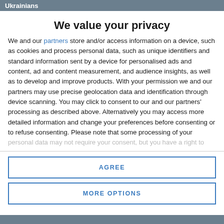Ukrainians
We value your privacy
We and our partners store and/or access information on a device, such as cookies and process personal data, such as unique identifiers and standard information sent by a device for personalised ads and content, ad and content measurement, and audience insights, as well as to develop and improve products. With your permission we and our partners may use precise geolocation data and identification through device scanning. You may click to consent to our and our partners' processing as described above. Alternatively you may access more detailed information and change your preferences before consenting or to refuse consenting. Please note that some processing of your personal data may not require your consent, but you have a right to
AGREE
MORE OPTIONS